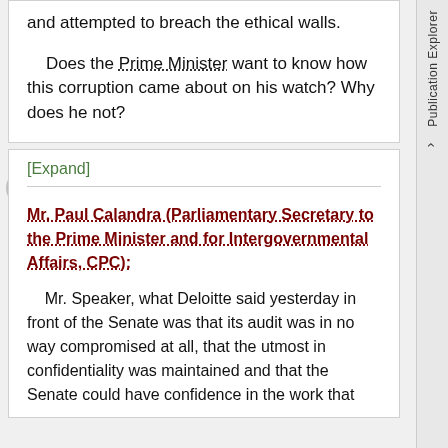and attempted to breach the ethical walls.
Does the Prime Minister want to know how this corruption came about on his watch? Why does he not?
[Expand]
Mr. Paul Calandra (Parliamentary Secretary to the Prime Minister and for Intergovernmental Affairs, CPC):
Mr. Speaker, what Deloitte said yesterday in front of the Senate was that its audit was in no way compromised at all, that the utmost in confidentiality was maintained and that the Senate could have confidence in the work that Deloitte had done. That is essentially what Deloitte said.